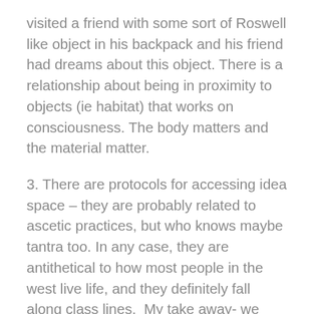visited a friend with some sort of Roswell like object in his backpack and his friend had dreams about this object. There is a relationship about being in proximity to objects (ie habitat) that works on consciousness. The body matters and the material matter.
3. There are protocols for accessing idea space – they are probably related to ascetic practices, but who knows maybe tantra too. In any case, they are antithetical to how most people in the west live life, and they definitely fall along class lines.  My take away- we need to support body practice education so that everyone can access the ideaspace. (This was related to an amazing question and it completely spot on).  In part, that is what RuneSoup is doing – democratizing the protocols for this sort of immateria contact. But there is really a lot more to be